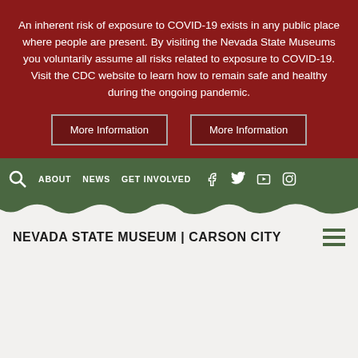An inherent risk of exposure to COVID-19 exists in any public place where people are present. By visiting the Nevada State Museums you voluntarily assume all risks related to exposure to COVID-19. Visit the CDC website to learn how to remain safe and healthy during the ongoing pandemic.
More Information
More Information
ABOUT  NEWS  GET INVOLVED  [social icons: Facebook, Twitter, YouTube, Instagram]
NEVADA STATE MUSEUM | CARSON CITY
FRANCES